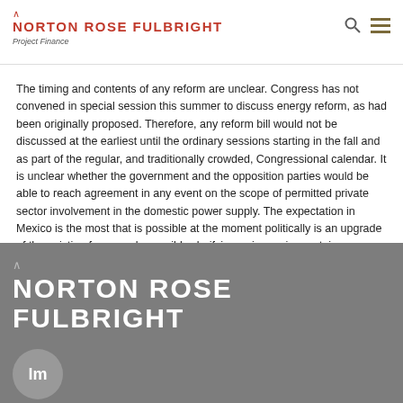NORTON ROSE FULBRIGHT — Project Finance
The timing and contents of any reform are unclear. Congress has not convened in special session this summer to discuss energy reform, as had been originally proposed. Therefore, any reform bill would not be discussed at the earliest until the ordinary sessions starting in the fall and as part of the regular, and traditionally crowded, Congressional calendar. It is unclear whether the government and the opposition parties would be able to reach agreement in any event on the scope of permitted private sector involvement in the domestic power supply. The expectation in Mexico is the most that is possible at the moment politically is an upgrade of the existing framework, possibly clarifying or improving certain regulations, but without any dramatic changes or major overhaul.
NORTON ROSE FULBRIGHT